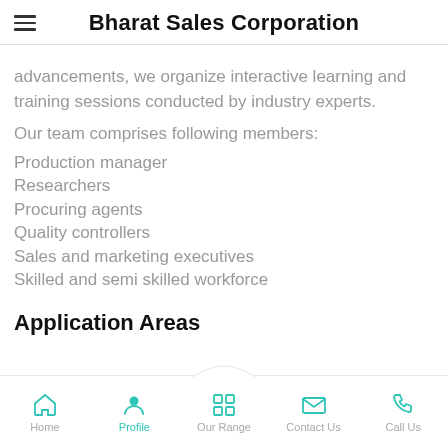Bharat Sales Corporation
advancements, we organize interactive learning and training sessions conducted by industry experts.
Our team comprises following members:
Production manager
Researchers
Procuring agents
Quality controllers
Sales and marketing executives
Skilled and semi skilled workforce
Application Areas
Home  Profile  Our Range  Contact Us  Call Us